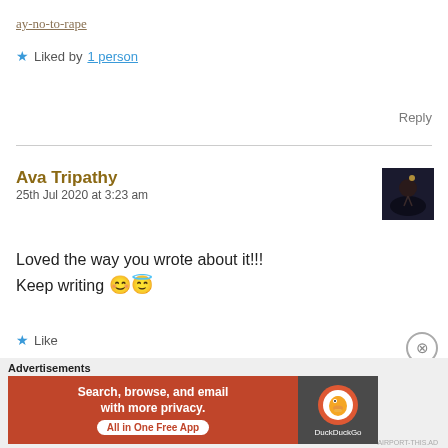ay-no-to-rape
★ Liked by 1 person
Reply
Ava Tripathy
25th Jul 2020 at 3:23 am
Loved the way you wrote about it!!!
Keep writing 😊😇
★ Like
Advertisements
Search, browse, and email with more privacy.
All in One Free App
DuckDuckGo